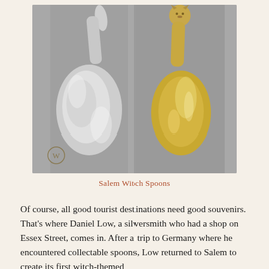[Figure (photo): Two silver spoons photographed face-up against a grey background. The left spoon is plain polished silver with a curved handle. The right spoon has a decorative cat or witch figure at the top of the handle and appears gold-toned. A small watermark logo appears in the lower-left corner of the image.]
Salem Witch Spoons
Of course, all good tourist destinations need good souvenirs. That's where Daniel Low, a silversmith who had a shop on Essex Street, comes in. After a trip to Germany where he encountered collectable spoons, Low returned to Salem to create its first witch-themed